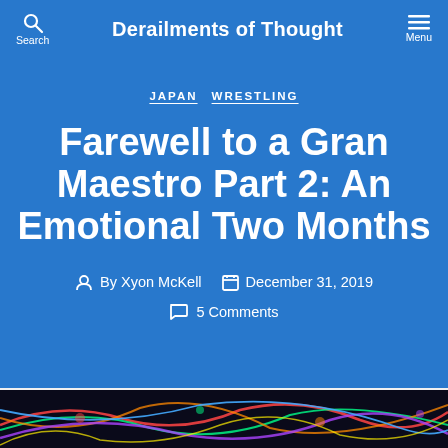Derailments of Thought
JAPAN  WRESTLING
Farewell to a Gran Maestro Part 2: An Emotional Two Months
By Xyon McKell  December 31, 2019  5 Comments
[Figure (photo): Colorful neon light trails photograph at the bottom of the page]